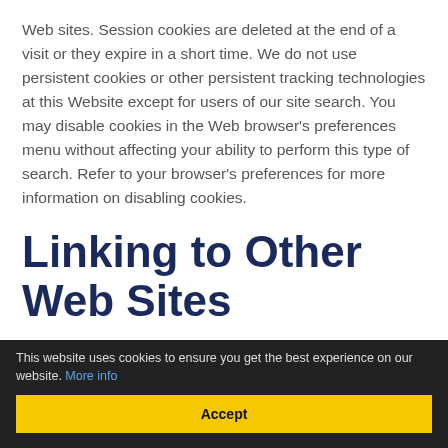Web sites. Session cookies are deleted at the end of a visit or they expire in a short time. We do not use persistent cookies or other persistent tracking technologies at this Website except for users of our site search. You may disable cookies in the Web browser's preferences menu without affecting your ability to perform this type of search. Refer to your browser's preferences for more information on disabling cookies.
Linking to Other Web Sites
The RAMP Site includes hypertext links to information created and maintained by other agencies and organizations.
This website uses cookies to ensure you get the best experience on our website. More info
Accept